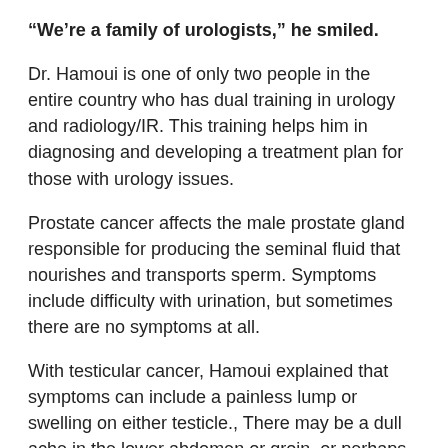“We’re a family of urologists,” he smiled.
Dr. Hamoui is one of only two people in the entire country who has dual training in urology and radiology/IR. This training helps him in diagnosing and developing a treatment plan for those with urology issues.
Prostate cancer affects the male prostate gland responsible for producing the seminal fluid that nourishes and transports sperm. Symptoms include difficulty with urination, but sometimes there are no symptoms at all.
With testicular cancer, Hamoui explained that symptoms can include a painless lump or swelling on either testicle., There may be a dull ache in the lower abdomen or groin, or perhaps pain, discomfort or numbness, without swelling in a testicle or the scrotum.